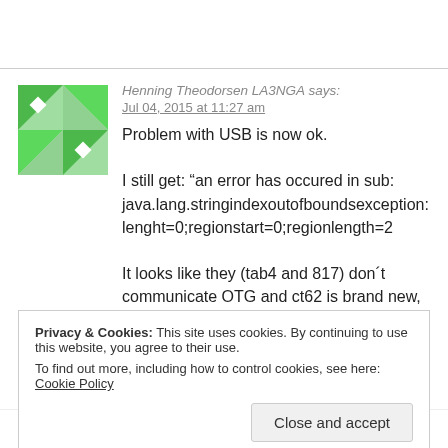Henning Theodorsen LA3NGA says:
Jul 04, 2015 at 11:27 am
Problem with USB is now ok.

I still get: “an error has occured in sub: java.lang.stringindexoutofboundsexception: lenght=0;regionstart=0;regionlength=2

It looks like they (tab4 and 817) don´t communicate OTG and ct62 is brand new, just like the 817
Privacy & Cookies: This site uses cookies. By continuing to use this website, you agree to their use.
To find out more, including how to control cookies, see here: Cookie Policy
Close and accept
A Andrea194/IT 0 says: